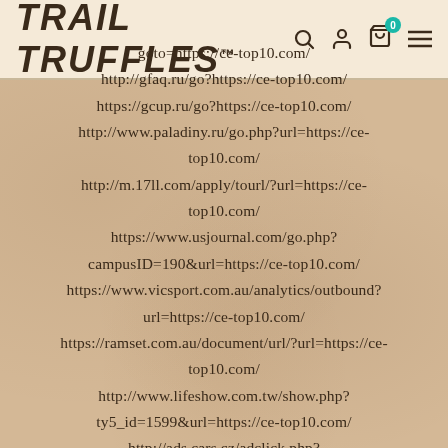TRAIL TRUFFLES™
goto=https://ce-top10.com/
http://gfaq.ru/go?https://ce-top10.com/
https://gcup.ru/go?https://ce-top10.com/
http://www.paladiny.ru/go.php?url=https://ce-top10.com/
http://m.17ll.com/apply/tourl/?url=https://ce-top10.com/
https://www.usjournal.com/go.php?campusID=190&url=https://ce-top10.com/
https://www.vicsport.com.au/analytics/outbound?url=https://ce-top10.com/
https://ramset.com.au/document/url/?url=https://ce-top10.com/
http://www.lifeshow.com.tw/show.php?ty5_id=1599&url=https://ce-top10.com/
http://ads.cars.cz/adclick.php?bannerid=333&zoneid=237&source=&dest=https://ce-